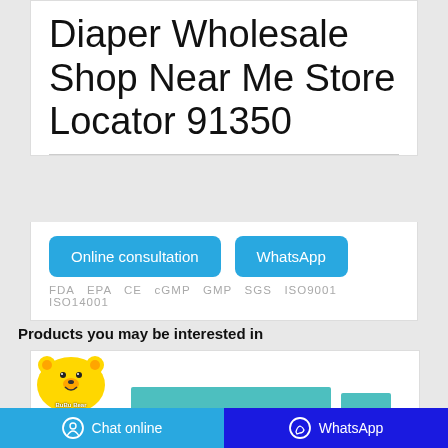Diaper Wholesale Shop Near Me Store Locator 91350
[Figure (other): Two blue rounded buttons: 'Online consultation' and 'WhatsApp']
FDA  EPA  CE  cGMP  GMP  SGS  ISO9001  ISO14001
Products you may be interested in
[Figure (logo): BuBu Bear brand logo — yellow circular logo with cartoon bear face and 'BuBu Bear' text]
[Figure (other): Partial product image with teal/cyan colored bars at bottom]
Chat online   WhatsApp